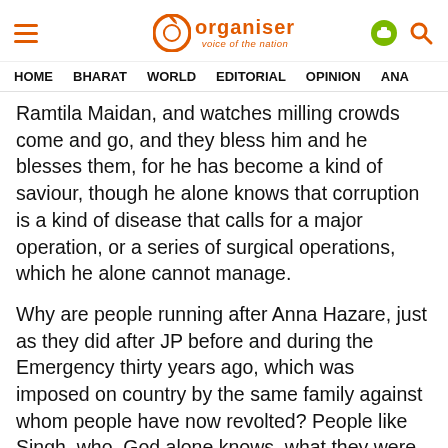Organiser — voice of the nation
HOME   BHARAT   WORLD   EDITORIAL   OPINION   ANA
Ramtila Maidan, and watches milling crowds come and go, and they bless him and he blesses them, for he has become a kind of saviour, though he alone knows that corruption is a kind of disease that calls for a major operation, or a series of surgical operations, which he alone cannot manage.
Why are people running after Anna Hazare, just as they did after JP before and during the Emergency thirty years ago, which was imposed on country by the same family against whom people have now revolted? People like Singh, who, God alone knows, what they were doing during Indira Gandhi's Emergency, probably cannot even spell the word